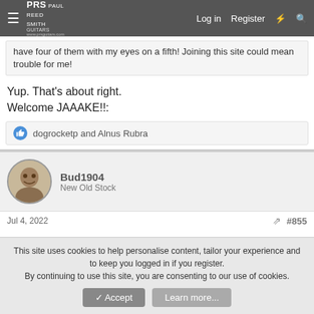PRS Paul Reed Smith Guitars www.prsguitars.com | Log in | Register
have four of them with my eyes on a fifth! Joining this site could mean trouble for me!
Yup. That's about right.
Welcome JAAAKE!!:
dogrocketp and Alnus Rubra
Bud1904
New Old Stock
Jul 4, 2022
#855
Welcome. Feel free to drool on your keyboard.
This site uses cookies to help personalise content, tailor your experience and to keep you logged in if you register.
By continuing to use this site, you are consenting to our use of cookies.